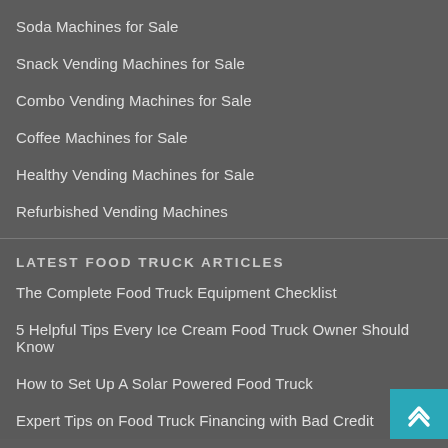Soda Machines for Sale
Snack Vending Machines for Sale
Combo Vending Machines for Sale
Coffee Machines for Sale
Healthy Vending Machines for Sale
Refurbished Vending Machines
LATEST FOOD TRUCK ARTICLES
The Complete Food Truck Equipment Checklist
5 Helpful Tips Every Ice Cream Food Truck Owner Should Know
How to Set Up A Solar Powered Food Truck
Expert Tips on Food Truck Financing with Bad Credit